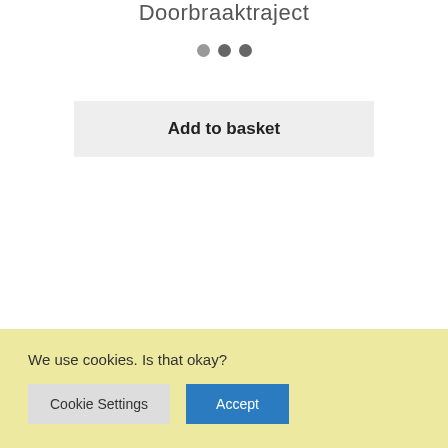Doorbraaktraject
Add to basket
Default sorting
Showing all 3 results
We use cookies. Is that okay?
Cookie Settings
Accept